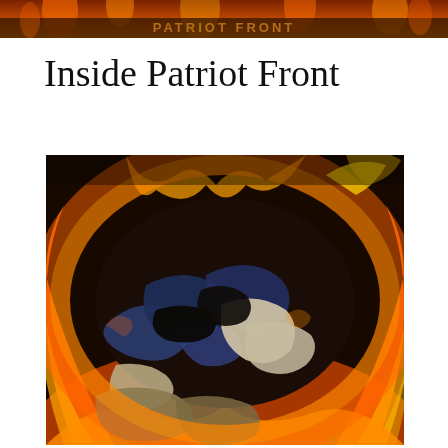[Figure (photo): Narrow horizontal banner image at top of page showing fire and shadowy figures with text 'PATRIOT FRONT' visible in orange/fire tones]
Inside Patriot Front
[Figure (photo): Large photograph of fabric or clothing (appearing to be a flag with blue, white, and red/khaki colors) burning in bright orange flames against a dark background]